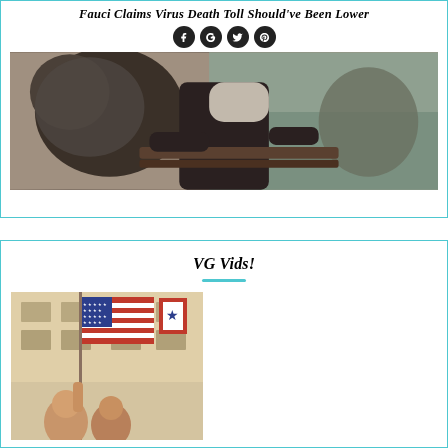Fauci Claims Virus Death Toll Should've Been Lower
[Figure (photo): Photo showing people in winter clothing outdoors, possibly near water]
VG Vids!
[Figure (photo): Photo of people holding an American flag outdoors near a building with a service flag]